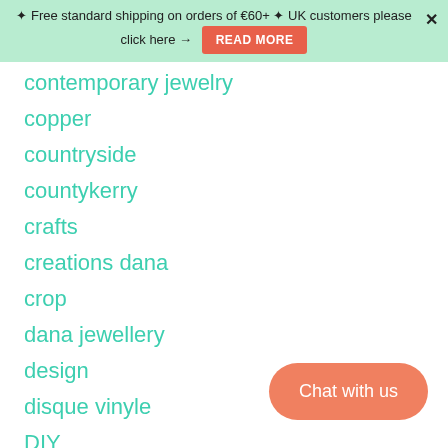✦ Free standard shipping on orders of €60+ ✦ UK customers please click here → READ MORE
contemporary jewelry
copper
countryside
countykerry
crafts
creations dana
crop
dana jewellery
design
disque vinyle
DIY
eco design
eco fashion
[Figure (other): Chat with us button - salmon/coral colored rounded pill button in bottom right corner]